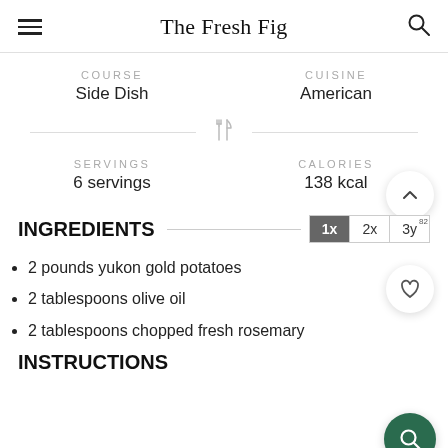The Fresh Fig
COURSE
Side Dish
CUISINE
American
SERVINGS
6 servings
CALORIES
138 kcal
INGREDIENTS
2 pounds yukon gold potatoes
2 tablespoons olive oil
2 tablespoons chopped fresh rosemary
INSTRUCTIONS